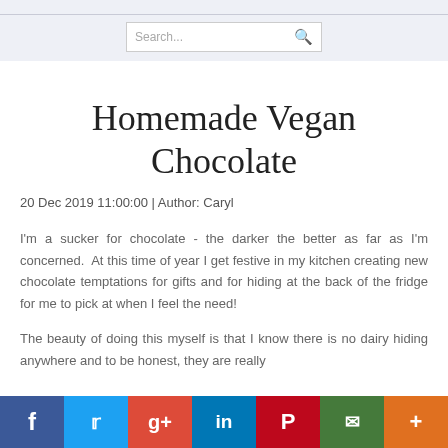Search...
Homemade Vegan Chocolate
20 Dec 2019 11:00:00 | Author: Caryl
I'm a sucker for chocolate - the darker the better as far as I'm concerned. At this time of year I get festive in my kitchen creating new chocolate temptations for gifts and for hiding at the back of the fridge for me to pick at when I feel the need!
The beauty of doing this myself is that I know there is no dairy hiding anywhere and to be honest, they are really e...
Share bar: Facebook, Twitter, Google+, LinkedIn, Pinterest, Email, More